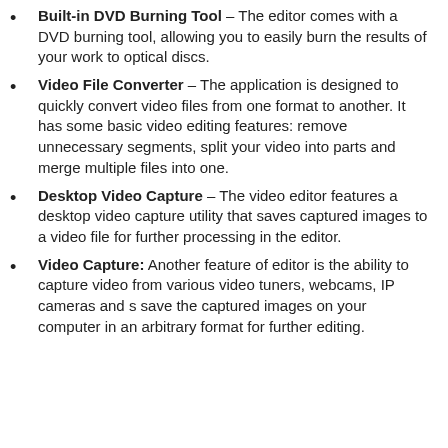Built-in DVD Burning Tool – The editor comes with a DVD burning tool, allowing you to easily burn the results of your work to optical discs.
Video File Converter – The application is designed to quickly convert video files from one format to another. It has some basic video editing features: remove unnecessary segments, split your video into parts and merge multiple files into one.
Desktop Video Capture – The video editor features a desktop video capture utility that saves captured images to a video file for further processing in the editor.
Video Capture: Another feature of editor is the ability to capture video from various video tuners, webcams, IP cameras and s save the captured images on your computer in an arbitrary format for further editing.